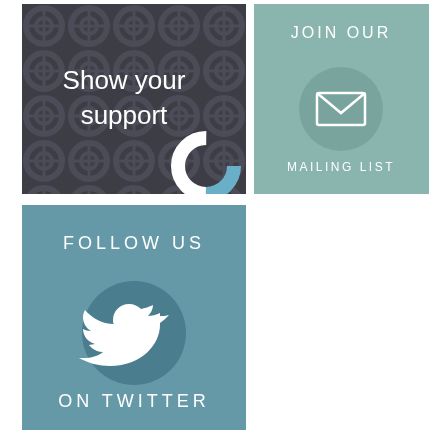[Figure (illustration): Dark grey box with repeating circular pattern background, white text 'Show your support', and a partial circle logo in the bottom right corner]
[Figure (illustration): Teal/sage green box with text 'JOIN OUR' at top, a circle containing an envelope/mail icon in the center, and 'MAILING LIST' text at the bottom]
[Figure (illustration): Steel blue box with text 'FOLLOW US' at top, a darker circle containing a Twitter bird icon, and 'ON TWITTER' text at the bottom]